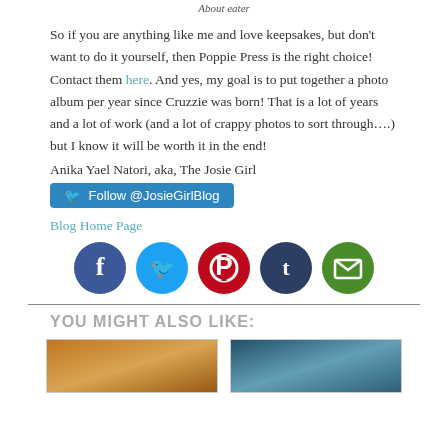About eater
So if you are anything like me and love keepsakes, but don't want to do it yourself, then Poppie Press is the right choice! Contact them here. And yes, my goal is to put together a photo album per year since Cruzzie was born! That is a lot of years and a lot of work (and a lot of crappy photos to sort through….) but I know it will be worth it in the end!
Anika Yael Natori, aka, The Josie Girl
Follow @JosieGirlBlog
Blog Home Page
[Figure (infographic): Row of five social media icon circles: Facebook (dark blue), Twitter (light blue), Pinterest (red), Tumblr (dark navy), Email (green)]
YOU MIGHT ALSO LIKE:
[Figure (photo): Warm-toned thumbnail photo (brown/golden hues)]
[Figure (photo): Cool-toned thumbnail photo (blue/teal hues)]